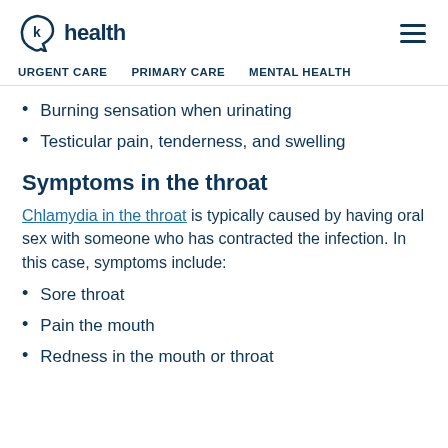K health | URGENT CARE | PRIMARY CARE | MENTAL HEALTH
Burning sensation when urinating
Testicular pain, tenderness, and swelling
Symptoms in the throat
Chlamydia in the throat is typically caused by having oral sex with someone who has contracted the infection. In this case, symptoms include:
Sore throat
Pain the mouth
Redness in the mouth or throat